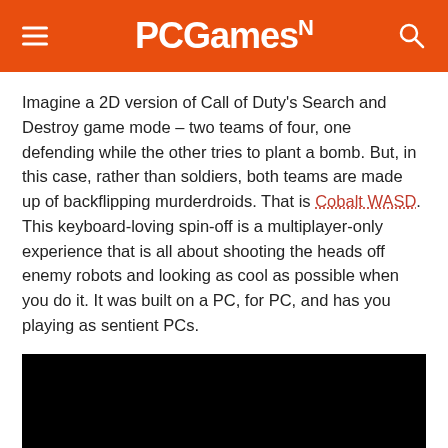PCGamesN
Imagine a 2D version of Call of Duty's Search and Destroy game mode – two teams of four, one defending while the other tries to plant a bomb. But, in this case, rather than soldiers, both teams are made up of backflipping murderdroids. That is Cobalt WASD. This keyboard-loving spin-off is a multiplayer-only experience that is all about shooting the heads off enemy robots and looking as cool as possible when you do it. It was built on a PC, for PC, and has you playing as sentient PCs.
[Figure (screenshot): Black video player embed area]